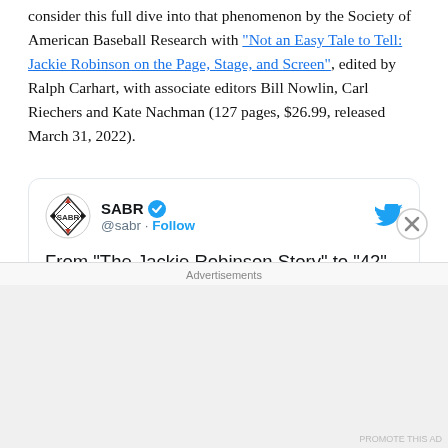consider this full dive into that phenomenon by the Society of American Baseball Research with "Not an Easy Tale to Tell: Jackie Robinson on the Page, Stage, and Screen", edited by Ralph Carhart, with associate editors Bill Nowlin, Carl Riechers and Kate Nachman (127 pages, $26.99, released March 31, 2022).
[Figure (screenshot): Embedded tweet from @sabr (SABR) with verified badge and Follow button. Tweet text: From "The Jackie Robinson Story" to "42" to @LovecraftHBO, Jackie Robinson's presence on the page, stage, and screen have captivated audiences around the country. Our new #SABR Digital Library book explores his impact on pop culture:]
Advertisements